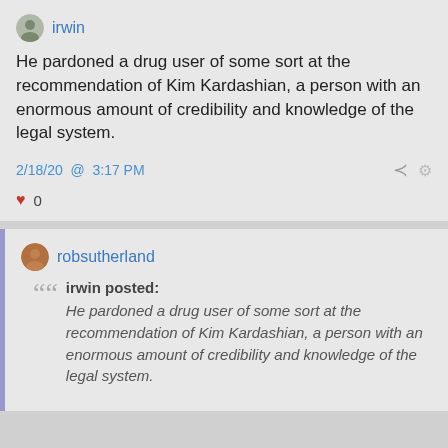irwin
He pardoned a drug user of some sort at the recommendation of Kim Kardashian, a person with an enormous amount of credibility and knowledge of the legal system.
2/18/20 @ 3:17 PM
0
robsutherland
irwin posted:
He pardoned a drug user of some sort at the recommendation of Kim Kardashian, a person with an enormous amount of credibility and knowledge of the legal system.